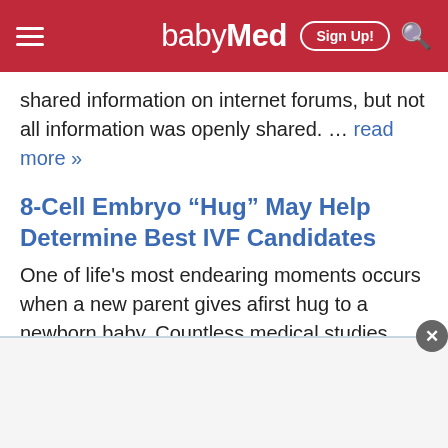babyMed
shared information on internet forums, but not all information was openly shared. ... read more »
8-Cell Embryo “Hug” May Help Determine Best IVF Candidates
One of life's most endearing moments occurs when a new parent gives afirst hug to a newborn baby. Countless medical studies have documentedthe nurturing value of the human touch. ... read more »